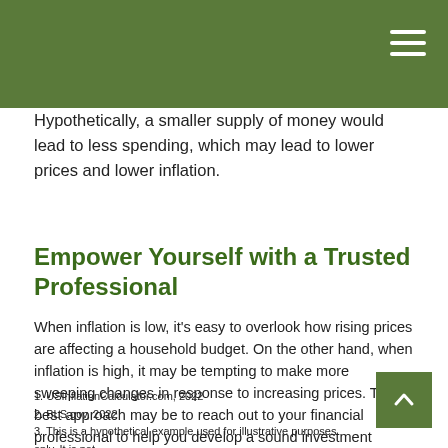Hypothetically, a smaller supply of money would lead to less spending, which may lead to lower prices and lower inflation.
Empower Yourself with a Trusted Professional
When inflation is low, it's easy to overlook how rising prices are affecting a household budget. On the other hand, when inflation is high, it may be tempting to make more sweeping changes in response to increasing prices. The best approach may be to reach out to your financial professional to help you develop a sound investment strategy that takes both possible scenarios into account.
1. USInflationCalculator.com, 2022
2. BLS.gov, 2022
3. This is a hypothetical example used for illustrative purposes only. It is not